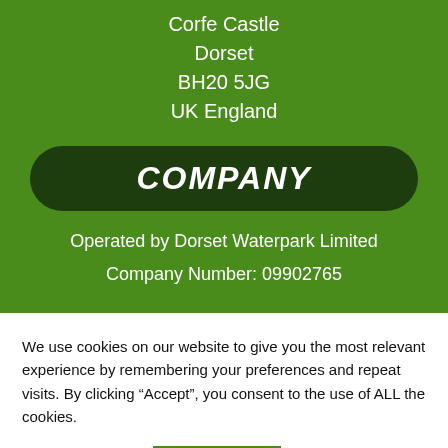Corfe Castle
Dorset
BH20 5JG
UK England
COMPANY
Operated by Dorset Waterpark Limited
Company Number: 09902765
We use cookies on our website to give you the most relevant experience by remembering your preferences and repeat visits. By clicking “Accept”, you consent to the use of ALL the cookies.
Cookie settings
ACCEPT